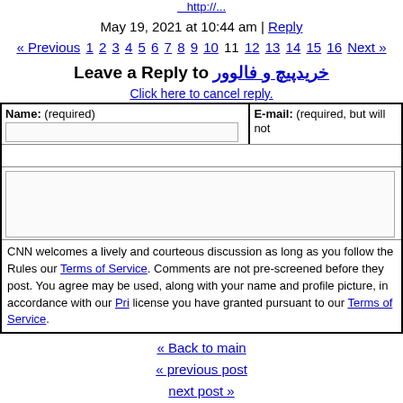http://...
May 19, 2021 at 10:44 am | Reply
« Previous 1 2 3 4 5 6 7 8 9 10 11 12 13 14 15 16 Next »
Leave a Reply to خریدپیچ و فالوور
Click here to cancel reply.
Name: (required)
E-mail: (required, but will not
CNN welcomes a lively and courteous discussion as long as you follow the Rules our Terms of Service. Comments are not pre-screened before they post. You agree may be used, along with your name and profile picture, in accordance with our Pri license you have granted pursuant to our Terms of Service.
« Back to main
« previous post
next post »